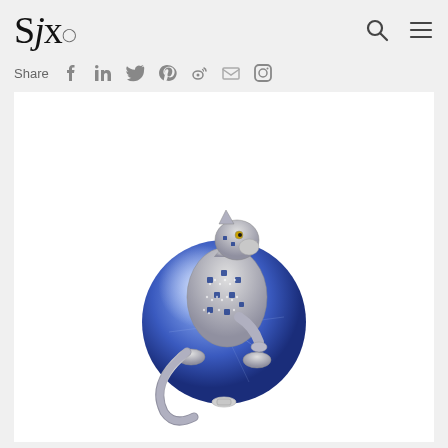SJx.
[Figure (logo): SJx logo with search and menu icons]
Share
[Figure (photo): Cartier-style panther brooch with diamonds and sapphires perched on a large blue star sapphire sphere]